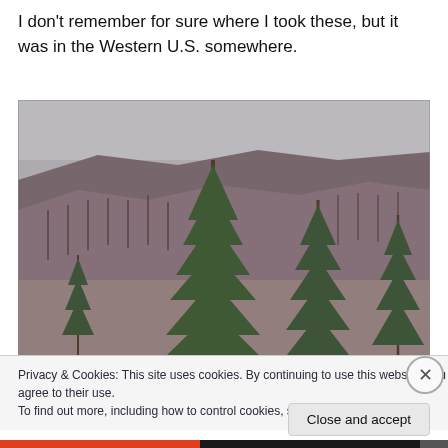I don't remember for sure where I took these, but it was in the Western U.S. somewhere.
[Figure (photo): A hillside covered in sparse coniferous trees, mostly dead or bare, with a few green pines in the foreground. The sky is overcast and grey. The landscape suggests a post-fire forest recovery area in the Western United States.]
Privacy & Cookies: This site uses cookies. By continuing to use this website, you agree to their use.
To find out more, including how to control cookies, see here: Cookie Policy